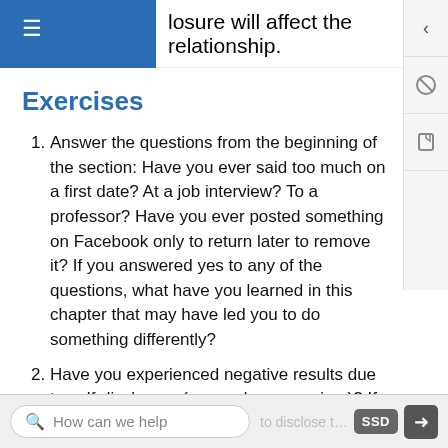losure are important factors in how the losure will affect the relationship.
Exercises
Answer the questions from the beginning of the section: Have you ever said too much on a first date? At a job interview? To a professor? Have you ever posted something on Facebook only to return later to remove it? If you answered yes to any of the questions, what have you learned in this chapter that may have led you to do something differently?
Have you experienced negative results due to self-disclosure (as sender or receiver)? If so, what
How can we help ... to disclose that move